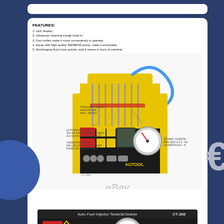FEATURES:
1. LED display;
2. Ultrasonic cleaning trough build in;
3. Foot trolley make it more conveniently to operate;
4. Equip with high quality SIEMENS pump, make it endurable;
5. Discharging fluid more quickly, add 2 valves in front of machine.
[Figure (photo): Auto Fuel Injector Tester & Cleaner machine (CT-200 by AUTOOL) with yellow and black casing, multiple injector tubes on top, blue hose, pressure gauge, LED display panel, and operation buttons. Labeled diagram showing PRESSURE GAUGE, ULTRASONIC VESSEL, OPERATION PANEL, and POWER components.]
[Figure (photo): Partial view of Auto Fuel Injector Tester & Cleaner CT-200 AUTOOL machine front panel showing the display, pressure gauge, and AUTOOL branding at bottom of page.]